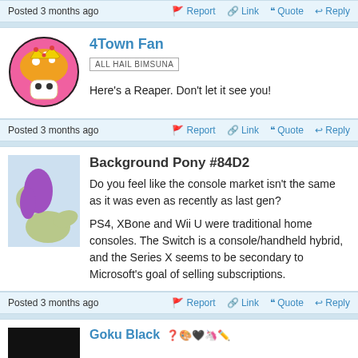Posted 3 months ago  Report  Link  Quote  Reply
4Town Fan
ALL HAIL BIMSUNA
Here's a Reaper. Don't let it see you!
Posted 3 months ago  Report  Link  Quote  Reply
Background Pony #84D2
Do you feel like the console market isn't the same as it was even as recently as last gen?
PS4, XBone and Wii U were traditional home consoles. The Switch is a console/handheld hybrid, and the Series X seems to be secondary to Microsoft's goal of selling subscriptions.
Posted 3 months ago  Report  Link  Quote  Reply
Goku Black